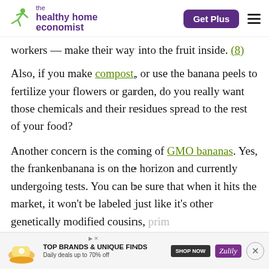the healthy home economist | Get Plus
workers — make their way into the fruit inside. (8)
Also, if you make compost, or use the banana peels to fertilize your flowers or garden, do you really want those chemicals and their residues spread to the rest of your food?
Another concern is the coming of GMO bananas. Yes, the frankenbanana is on the horizon and currently undergoing tests. You can be sure that when it hits the market, it won't be labeled just like it's other genetically modified cousins, prim...
[Figure (screenshot): Advertisement banner: TOP BRANDS & UNIQUE FINDS, Daily deals up to 70% off, SHOP NOW button, Zulily branding, close button (x)]